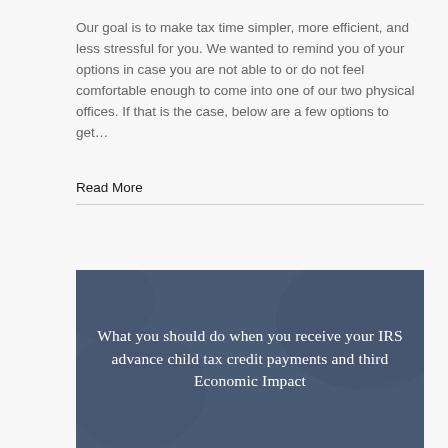Our goal is to make tax time simpler, more efficient, and less stressful for you. We wanted to remind you of your options in case you are not able to or do not feel comfortable enough to come into one of our two physical offices. If that is the case, below are a few options to get…
Read More
[Figure (illustration): Dark blue-toned image with overlaid white serif text reading: 'What you should do when you receive your IRS advance child tax credit payments and third Economic Impact']